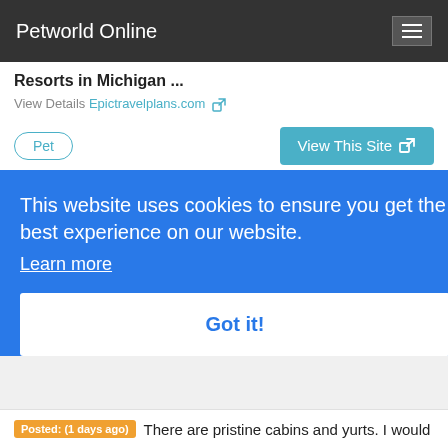Petworld Online
Resorts in Michigan ...
View Details Epictravelplans.com
Pet
View This Site
Crooked Tree Cabins - Michigan Cabin Rentals
Crooked Tree Cabins 3818 Boardine Trail
This website uses cookies to ensure you get the best experience on our website.
Learn more
Got it!
Posted: (1 days ago) There are pristine cabins and yurts. I would